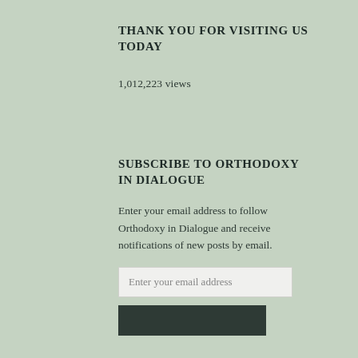THANK YOU FOR VISITING US TODAY
1,012,223 views
SUBSCRIBE TO ORTHODOXY IN DIALOGUE
Enter your email address to follow Orthodoxy in Dialogue and receive notifications of new posts by email.
Enter your email address